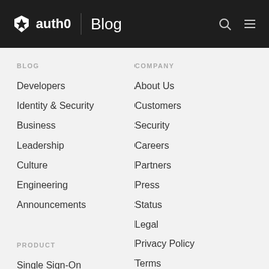auth0 | Blog
BLOG
Developers
Identity & Security
Business
Leadership
Culture
Engineering
Announcements
COMPANY
About Us
Customers
Security
Careers
Partners
Press
Status
Legal
Privacy Policy
Terms
PRODUCT
Single Sign-On
MORE
Auth0.com